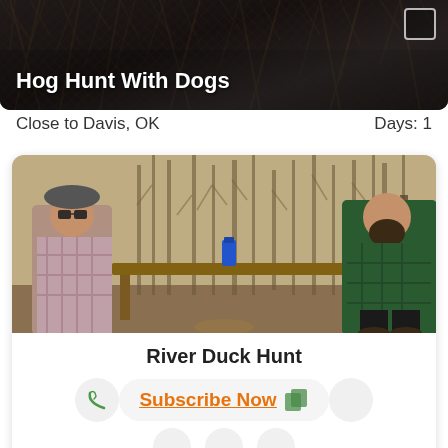[Figure (photo): Dark fur/hair close-up texture background with white text overlay showing 'Hog Hunt With Dogs' listing]
Hog Hunt With Dogs
Close to Davis, OK
Days: 1
[Figure (photo): Two men standing on either side of a wooden table in a winter forest setting with bare trees, one wearing a plaid shirt on the left and one in a green plaid jacket on the right]
River Duck Hunt
Subscribe Now